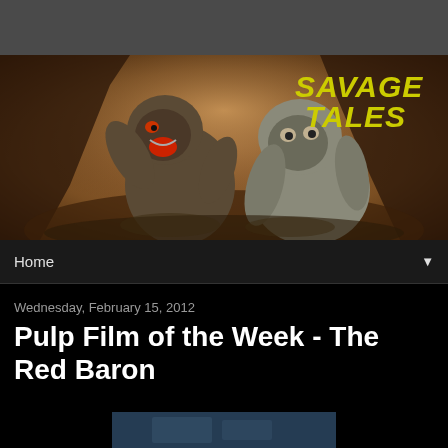[Figure (illustration): Savage Tales blog banner featuring two muscular gorillas/apes in a cave setting with yellow text 'SAVAGE TALES' in the upper right]
Home ▼
Wednesday, February 15, 2012
Pulp Film of the Week - The Red Baron
[Figure (screenshot): Partial thumbnail image at bottom of page, partially cut off]